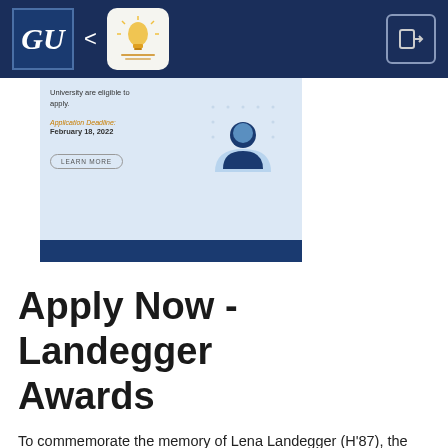GU < [Award logo] [Exit icon]
[Figure (screenshot): Partial card/banner showing text about university eligibility to apply, Application Deadline February 18, 2022, a LEARN MORE button, a figure of a person with a lightbulb/heart, and a dark blue bottom bar.]
Apply Now - Landegger Awards
To commemorate the memory of Lena Landegger (H'87), the Landegger Charitable Foundation has made a generous gift to Georgetown University for the purpose of honoring and rewarding Georgetown